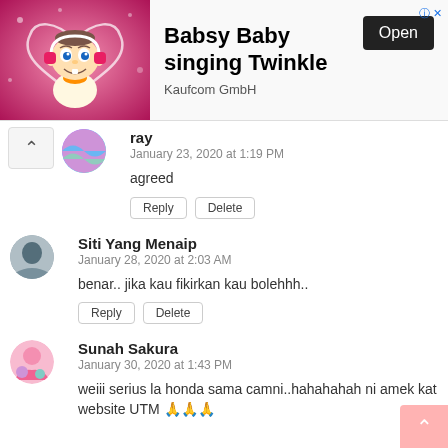[Figure (screenshot): Advertisement banner for 'Babsy Baby singing Twinkle' by Kaufcom GmbH with an Open button and baby cartoon image on pink background]
ray
January 23, 2020 at 1:19 PM
agreed
Reply | Delete
Siti Yang Menaip
January 28, 2020 at 2:03 AM
benar.. jika kau fikirkan kau bolehhh..
Reply | Delete
Sunah Sakura
January 30, 2020 at 1:43 PM
weiii serius la honda sama camni..hahahahah ni amek kat website UTM 🙏🙏🙏